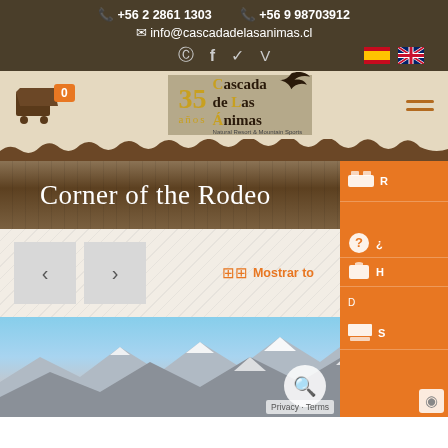📞 +56 2 2861 1303  📞 +56 9 98703912  ✉ info@cascadadelasanimas.cl
[Figure (screenshot): Website screenshot of Cascada de las Animas showing navigation header with phone numbers, email, social icons, Spanish/English language flags, logo with 35 años branding, shopping cart, hamburger menu, hero banner saying 'Corner of the Rodeo', orange sidebar with icons, navigation arrows, Mostrar to... link, and mountain landscape photo.]